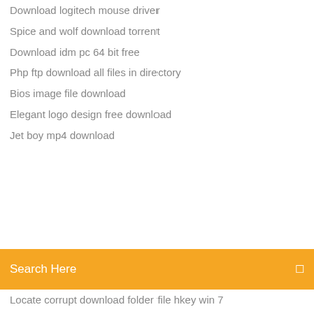Download logitech mouse driver
Spice and wolf download torrent
Download idm pc 64 bit free
Php ftp download all files in directory
Bios image file download
Elegant logo design free download
Jet boy mp4 download
[Figure (screenshot): Orange search bar with text 'Search Here' and a search icon on the right]
Locate corrupt download folder file hkey win 7
Free download team fortress2 highly compressed torrent
Download driver edit video
Apps to download music to phonefree
How to download files off a bloggie camera
Ummy video downloader archive
Vidhata full movie mp4 download
Corsair downloads wrong driver
Nordvpn download old versions
Latest kodi download for pc